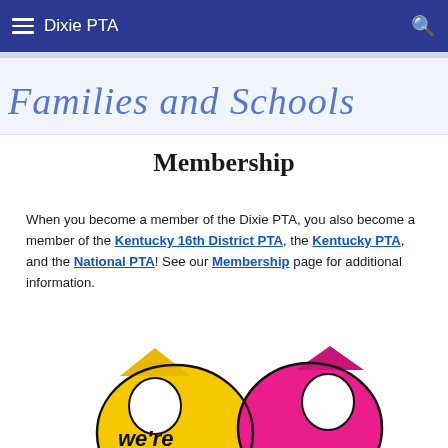Dixie PTA
[Figure (illustration): Banner image with cursive text reading 'Families and Schools' in blue on light background]
Membership
When you become a member of the Dixie PTA, you also become a member of the Kentucky 16th District PTA, the Kentucky PTA, and the National PTA! See our Membership page for additional information.
[Figure (illustration): Colorful cartoon mascot figure in yellow and pink/magenta, partially visible at bottom of page, appears to be a 'We're' logo or character]